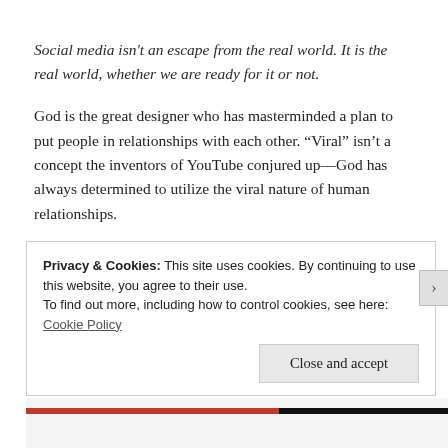Social media isn't an escape from the real world. It is the real world, whether we are ready for it or not.
God is the great designer who has masterminded a plan to put people in relationships with each other. “Viral” isn’t a concept the inventors of YouTube conjured up—God has always determined to utilize the viral nature of human relationships.
Privacy & Cookies: This site uses cookies. By continuing to use this website, you agree to their use.
To find out more, including how to control cookies, see here: Cookie Policy
Close and accept